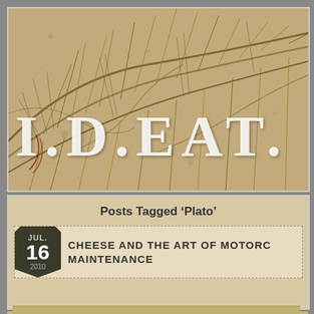[Figure (illustration): Botanical/organic illustration with dried plant fibers and grass-like strands on a sepia/aged parchment background. Large white serif text 'I.D.EAT.' overlaid on the illustration.]
Posts Tagged ‘Plato’
JUL. 16 2010  CHEESE AND THE ART OF MOTORC MAINTENANCE